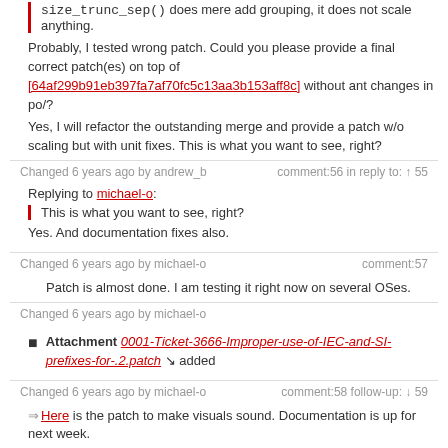size_trunc_sep() does mere add grouping, it does not scale anything.
Probably, I tested wrong patch. Could you please provide a final correct patch(es) on top of [64af299b91eb397fa7af70fc5c13aa3b153aff8c] without ant changes in po/?
Yes, I will refactor the outstanding merge and provide a patch w/o scaling but with unit fixes. This is what you want to see, right?
Changed 6 years ago by andrew_b    comment:56 in reply to: ↑ 55
Replying to michael-o: This is what you want to see, right?
Yes. And documentation fixes also.
Changed 6 years ago by michael-o    comment:57
Patch is almost done. I am testing it right now on several OSes.
Changed 6 years ago by michael-o
Attachment 0001-Ticket-3666-Improper-use-of-IEC-and-SI-prefixes-for-.2.patch added
Changed 6 years ago by michael-o    comment:58 follow-up: ↓ 59
Here is the patch to make visuals sound. Documentation is up for next week.